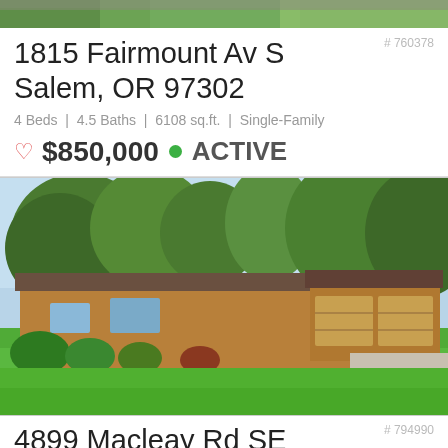[Figure (photo): Top portion of a property photo showing green trees and foliage]
# 760378
1815 Fairmount Av S
Salem, OR 97302
4 Beds | 4.5 Baths | 6108 sq.ft. | Single-Family
♡ $850,000 ● ACTIVE
[Figure (photo): Ranch-style house with large front lawn, attached two-car garage, surrounded by large deciduous trees under blue sky]
# 794990
4899 Macleay Rd SE